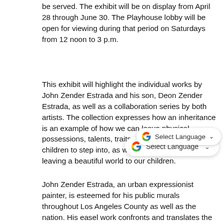be served. The exhibit will be on display from April 28 through June 30. The Playhouse lobby will be open for viewing during that period on Saturdays from 12 noon to 3 p.m.
This exhibit will highlight the individual works by John Zender Estrada and his son, Deon Zender Estrada, as well as a collaboration series by both artists. The collection expresses how an inheritance is an example of how we can leave physical possessions, talents, traits or even a legacy for our children to step into, as well as the importance of leaving a beautiful world to our children.
John Zender Estrada, an urban expressionist painter, is esteemed for his public murals throughout Los Angeles County as well as the nation. His easel work confronts and translates the essence of the body, soul, and the spirit through a fusion of biological and morphological ideas with spiritual abstractions. To preview his works, visit www.JohnZender.com.
Deon Zender Estrada is a naturalist painter who fell in love with marine life at age 6. He discovered his passion for